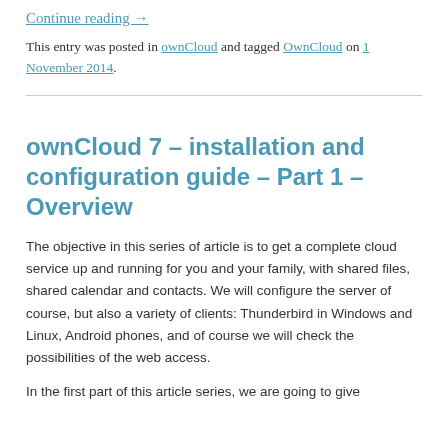Continue reading →
This entry was posted in ownCloud and tagged OwnCloud on 1 November 2014.
ownCloud 7 – installation and configuration guide – Part 1 – Overview
The objective in this series of article is to get a complete cloud service up and running for you and your family, with shared files, shared calendar and contacts. We will configure the server of course, but also a variety of clients: Thunderbird in Windows and Linux, Android phones, and of course we will check the possibilities of the web access.
In the first part of this article series, we are going to give